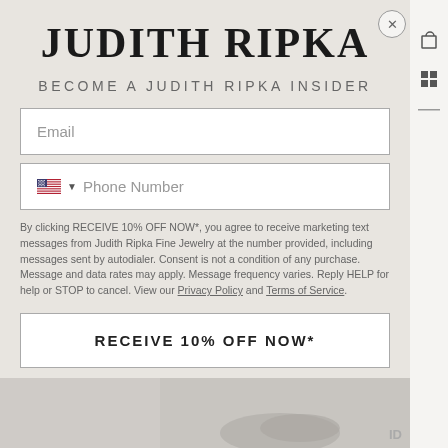JUDITH RIPKA
BECOME A JUDITH RIPKA INSIDER
Email
Phone Number
By clicking RECEIVE 10% OFF NOW*, you agree to receive marketing text messages from Judith Ripka Fine Jewelry at the number provided, including messages sent by autodialer. Consent is not a condition of any purchase. Message and data rates may apply. Message frequency varies. Reply HELP for help or STOP to cancel. View our Privacy Policy and Terms of Service.
RECEIVE 10% OFF NOW*